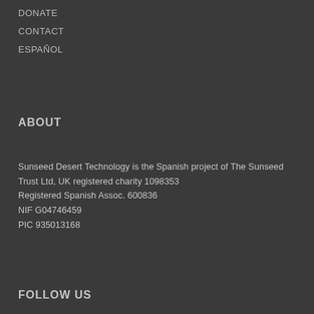DONATE
CONTACT
ESPAÑOL
ABOUT
Sunseed Desert Technology is the Spanish project of The Sunseed Trust Ltd, UK registered charity  1098353
Registered Spanish Assoc. 600836
NIF G04746459
PIC 935013168
FOLLOW US